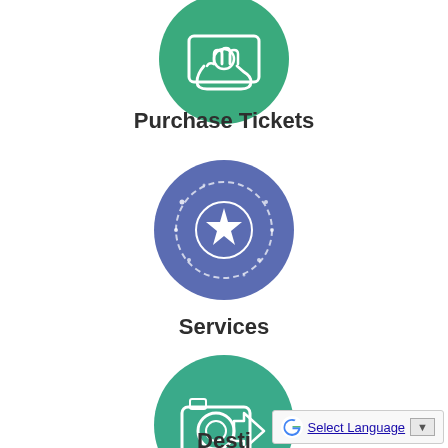[Figure (illustration): Green circle icon with a hand holding money/ticket — Purchase Tickets icon]
Purchase Tickets
[Figure (illustration): Blue/purple circle icon with a star and orbit rings — Services icon]
Services
[Figure (illustration): Teal/green circle icon with a camera and arrow — Destinations icon (partially visible)]
Desti...
Select Language